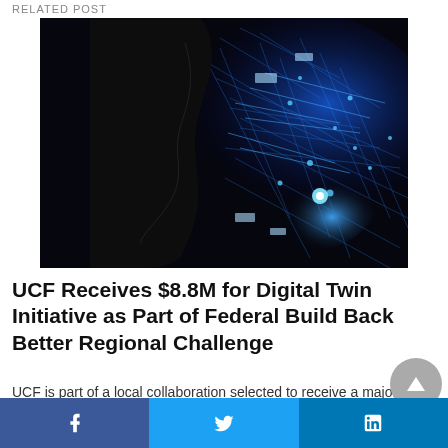RELATED POST
[Figure (photo): AI digital twin concept image: silhouette of a human face profile with a glowing blue neural network digital twin overlay on the right side, against a dark background.]
UCF Receives $8.8M for Digital Twin Initiative as Part of Federal Build Back Better Regional Challenge
UCF is part of a local collaboration selected to receive a major national investment in...